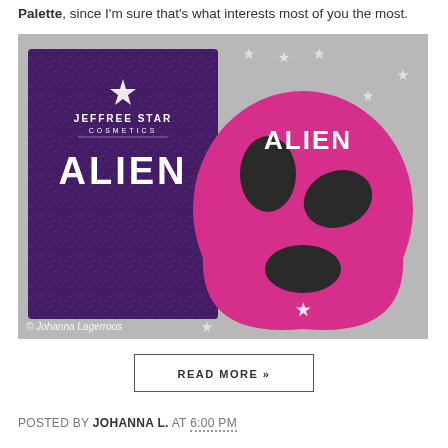Palette, since I'm sure that's what interests most of you the most.
[Figure (photo): Photo of Jeffree Star Cosmetics Alien palette — purple glittery rectangular box on left labeled JEFFREE STAR COSMETICS ALIEN, and a bright pink alien head-shaped compact on right with ALIEN text, both resting on a grey star-patterned fabric. © Johanna Lagerroos watermark at bottom left.]
READ MORE »
POSTED BY JOHANNA L. AT 6:00 PM